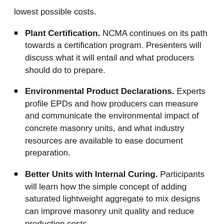lowest possible costs.
Plant Certification. NCMA continues on its path towards a certification program. Presenters will discuss what it will entail and what producers should do to prepare.
Environmental Product Declarations. Experts profile EPDs and how producers can measure and communicate the environmental impact of concrete masonry units, and what industry resources are available to ease document preparation.
Better Units with Internal Curing. Participants will learn how the simple concept of adding saturated lightweight aggregate to mix designs can improve masonry unit quality and reduce production costs.
Check-out the Check-off. The march toward achieving the vision of a concrete masonry check-off program continues. Session leaders will field questions about how this program will be created and implemented.